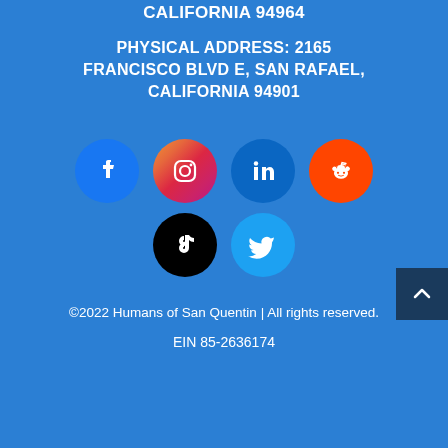CALIFORNIA 94964
PHYSICAL ADDRESS: 2165 FRANCISCO BLVD E, SAN RAFAEL, CALIFORNIA 94901
[Figure (illustration): Social media icons in circular buttons: Facebook (blue), Instagram (pink/red gradient), LinkedIn (dark blue), Reddit (orange) on top row; TikTok (black), Twitter (light blue) on bottom row. A dark blue scroll-to-top button with an upward chevron is on the right side.]
©2022 Humans of San Quentin | All rights reserved.
EIN 85-2636174